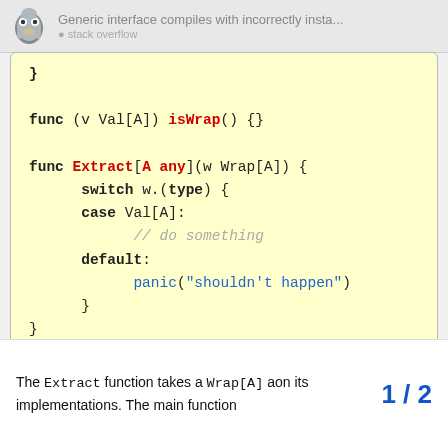Generic interface compiles with incorrectly insta...
[Figure (screenshot): Go code snippet on yellow background showing func (v Val[A]) isWrap() {}, func Extract[A any](w Wrap[A]) with switch type statement and panic, and func main() calling Extract[string](Val[int]{3})]
The Extract function takes a Wrap[A] a... on its implementations. The main function
1 / 2